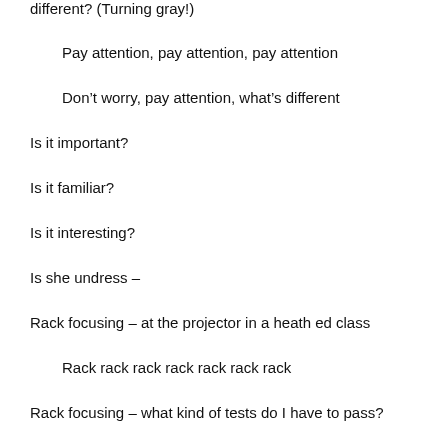different? (Turning gray!)
Pay attention, pay attention, pay attention
Don't worry, pay attention, what's different
Is it important?
Is it familiar?
Is it interesting?
Is she undress –
Rack focusing – at the projector in a heath ed class
Rack rack rack rack rack rack rack
Rack focusing – what kind of tests do I have to pass?